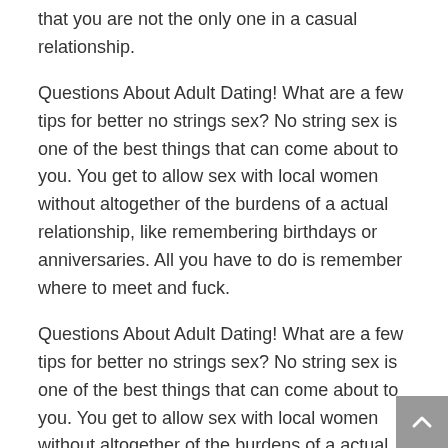that you are not the only one in a casual relationship.
Questions About Adult Dating! What are a few tips for better no strings sex? No string sex is one of the best things that can come about to you. You get to allow sex with local women without altogether of the burdens of a actual relationship, like remembering birthdays or anniversaries. All you have to do is remember where to meet and fuck.
Questions About Adult Dating! What are a few tips for better no strings sex? No string sex is one of the best things that can come about to you. You get to allow sex with local women without altogether of the burdens of a actual relationship, like remembering birthdays or anniversaries. All you have to do is remember where to meet and fuck. Here are some tips on assembly no string sex even more fun: 1. Always remind yourself that this is no strings sex. Remember en route for remind your partner as well.